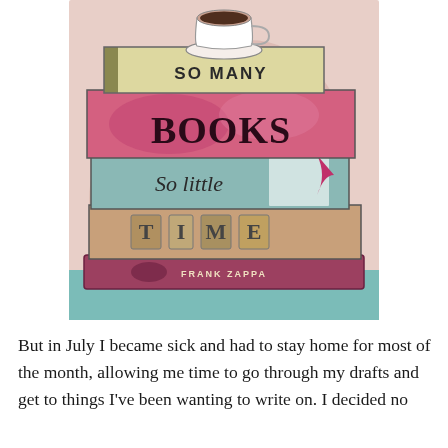[Figure (illustration): Illustrated stack of books with a coffee cup on top. Books are labeled 'So Many', 'BOOKS', 'So little', 'TIME', with 'FRANK ZAPPA' on a ribbon at the bottom. Colorful artistic design with pink, teal, and cream tones.]
But in July I became sick and had to stay home for most of the month, allowing me time to go through my drafts and get to things I've been wanting to write on. I decided no...